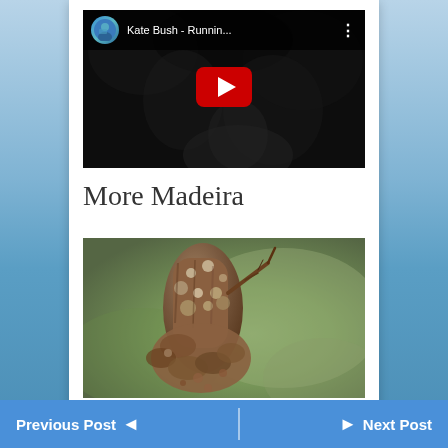[Figure (screenshot): YouTube video embed showing 'Kate Bush - Runnin...' with dark thumbnail of a woman, red play button, and video avatar thumbnail in top bar]
More Madeira
[Figure (photo): Close-up macro photograph of a brown textured plant stem or cone with rough lichen-like surface, against a blurred green background]
Previous Post  ◄ | ► Next Post